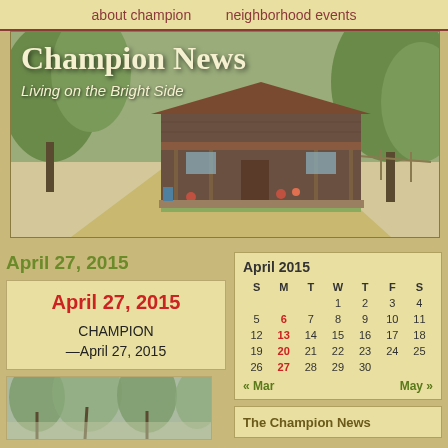about champion   neighborhood events
[Figure (photo): Champion News website header with photo of rustic wooden cabin/farmhouse on a country road, surrounded by trees. Overlaid text reads 'Champion News' and 'Living on the Bright Side']
Champion News
Living on the Bright Side
April 27, 2015
April 27, 2015
CHAMPION —April 27, 2015
[Figure (photo): Outdoor photo showing trees with branches]
| S | M | T | W | T | F | S |
| --- | --- | --- | --- | --- | --- | --- |
|  |  |  | 1 | 2 | 3 | 4 |
| 5 | 6 | 7 | 8 | 9 | 10 | 11 |
| 12 | 13 | 14 | 15 | 16 | 17 | 18 |
| 19 | 20 | 21 | 22 | 23 | 24 | 25 |
| 26 | 27 | 28 | 29 | 30 |  |  |
« Mar   May »
The Champion News